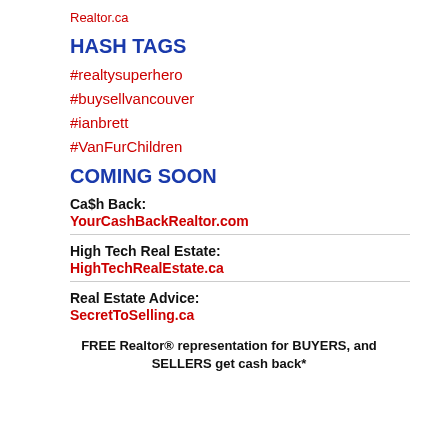Realtor.ca
HASH TAGS
#realtysuperhero
#buysellvancouver
#ianbrett
#VanFurChildren
COMING SOON
Ca$h Back:
YourCashBackRealtor.com
High Tech Real Estate:
HighTechRealEstate.ca
Real Estate Advice:
SecretToSelling.ca
FREE Realtor® representation for BUYERS, and SELLERS get cash back*